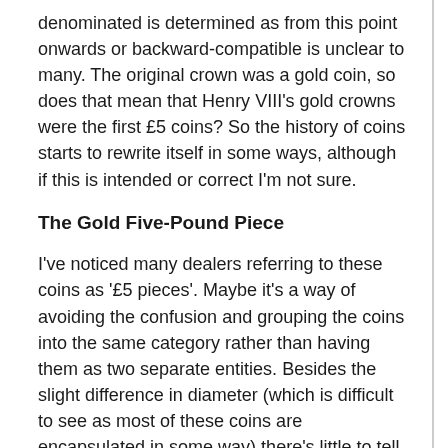denominated is determined as from this point onwards or backward-compatible is unclear to many. The original crown was a gold coin, so does that mean that Henry VIII's gold crowns were the first £5 coins? So the history of coins starts to rewrite itself in some ways, although if this is intended or correct I'm not sure.
The Gold Five-Pound Piece
I've noticed many dealers referring to these coins as '£5 pieces'. Maybe it's a way of avoiding the confusion and grouping the coins into the same category rather than having them as two separate entities. Besides the slight difference in diameter (which is difficult to see as most of these coins are encapsulated in some way) there's little to tell.
If the reverse looks like it commemorated something then it's probably a crown. If the reverse is the same as the reverse of a sovereign of the same year then it